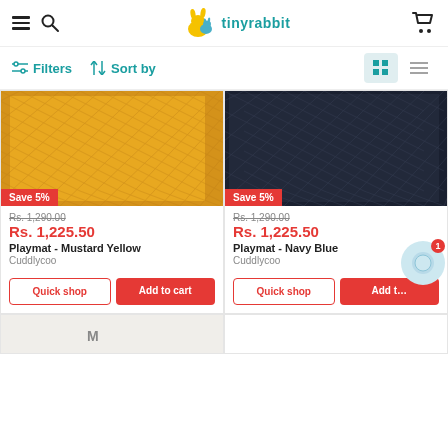tinyrabbit - Filters, Sort by, grid/list view toggle
[Figure (screenshot): Playmat Mustard Yellow product card with image of yellow quilted playmat, Save 5% badge, price Rs. 1,290.00 crossed out, sale price Rs. 1,225.50, brand Cuddlycoo, Quick shop and Add to cart buttons]
[Figure (screenshot): Playmat Navy Blue product card with image of dark navy quilted playmat, Save 5% badge, price Rs. 1,290.00 crossed out, sale price Rs. 1,225.50, brand Cuddlycoo, Quick shop and Add to cart buttons]
Playmat - Mustard Yellow
Cuddlycoo
Rs. 1,225.50
Playmat - Navy Blue
Cuddlycoo
Rs. 1,225.50